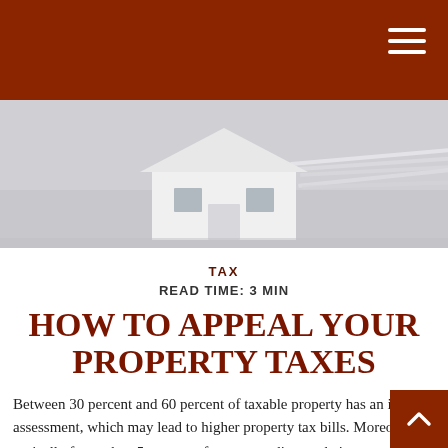[Figure (photo): Hero image showing a miniature white house model with papers/documents in the background on a light gray surface]
TAX
READ TIME: 3 MIN
HOW TO APPEAL YOUR PROPERTY TAXES
Between 30 percent and 60 percent of taxable property has an inflated assessment, which may lead to higher property tax bills. Moreover, typically fewer than 5 percent of taxpayers dispute their assessment.¹
For homeowners who think their local government may